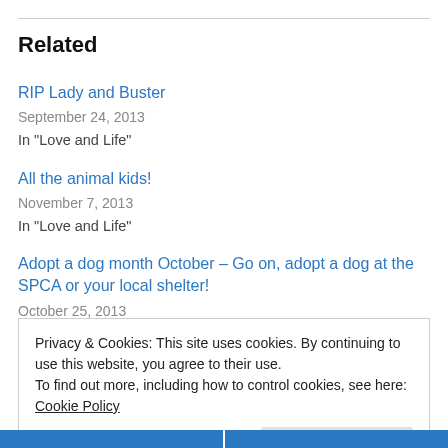Related
RIP Lady and Buster
September 24, 2013
In "Love and Life"
All the animal kids!
November 7, 2013
In "Love and Life"
Adopt a dog month October – Go on, adopt a dog at the SPCA or your local shelter!
October 25, 2013
Privacy & Cookies: This site uses cookies. By continuing to use this website, you agree to their use.
To find out more, including how to control cookies, see here: Cookie Policy
Close and accept